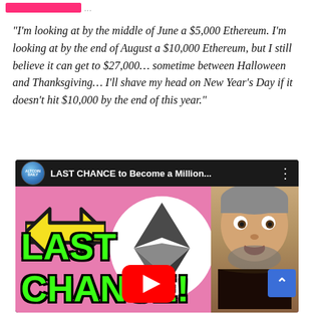...
“I’m looking at by the middle of June a $5,000 Ethereum. I’m looking at by the end of August a $10,000 Ethereum, but I still believe it can get to $27,000… sometime between Halloween and Thanksgiving… I’ll shave my head on New Year’s Day if it doesn’t hit $10,000 by the end of this year.”
[Figure (screenshot): YouTube video thumbnail for 'LAST CHANCE to Become a Million...' by Altcoin Daily channel, showing a man with a surprised expression, a yellow arrow, the Ethereum logo, green text reading LAST CHANCE, and a YouTube play button on a pink background.]